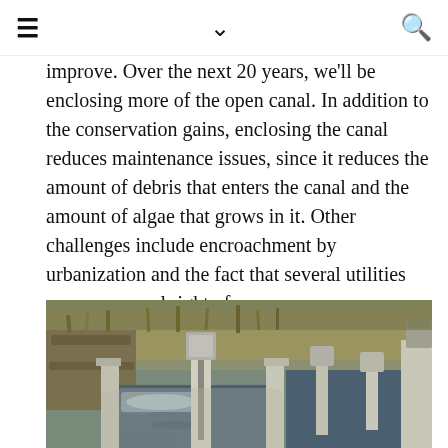≡  ∨  🔍
improve. Over the next 20 years, we'll be enclosing more of the open canal. In addition to the conservation gains, enclosing the canal reduces maintenance issues, since it reduces the amount of debris that enters the canal and the amount of algae that grows in it. Other challenges include encroachment by urbanization and the fact that several utilities cross our canal right of way.
[Figure (photo): Newly installed Emrgy small hydro units operating in a DWCCC canal. Shows concrete canal with water flowing through gate structures and control boxes mounted on posts.]
Newly installed Emrgy small hydro units operating in a DWCCC canal.